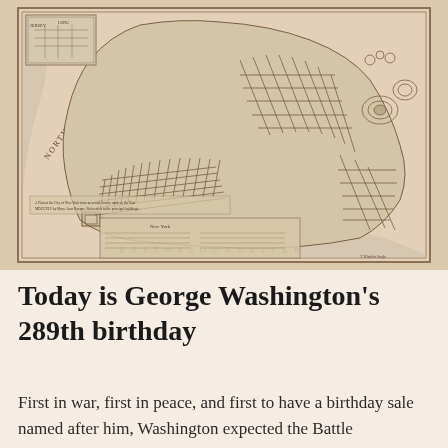[Figure (map): Historical antique map of New York City (Manhattan island), showing street grid, waterways labeled 'North or Hudson' and 'East or Sound River', with a legend and inset map in the upper left. Sepia/engraving style.]
Today is George Washington's 289th birthday
First in war, first in peace, and first to have a birthday sale named after him, Washington expected the Battle